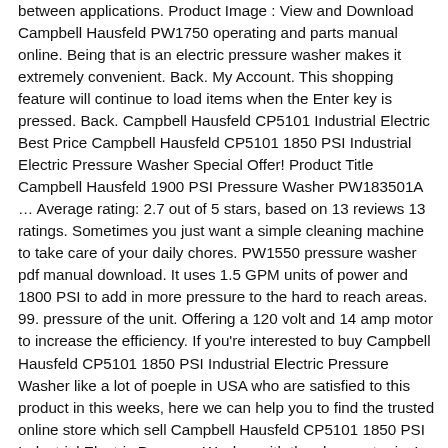between applications. Product Image : View and Download Campbell Hausfeld PW1750 operating and parts manual online. Being that is an electric pressure washer makes it extremely convenient. Back. My Account. This shopping feature will continue to load items when the Enter key is pressed. Back. Campbell Hausfeld CP5101 Industrial Electric Best Price Campbell Hausfeld CP5101 1850 PSI Industrial Electric Pressure Washer Special Offer! Product Title Campbell Hausfeld 1900 PSI Pressure Washer PW183501A … Average rating: 2.7 out of 5 stars, based on 13 reviews 13 ratings. Sometimes you just want a simple cleaning machine to take care of your daily chores. PW1550 pressure washer pdf manual download. It uses 1.5 GPM units of power and 1800 PSI to add in more pressure to the hard to reach areas. 99. pressure of the unit. Offering a 120 volt and 14 amp motor to increase the efficiency. If you're interested to buy Campbell Hausfeld CP5101 1850 PSI Industrial Electric Pressure Washer like a lot of poeple in USA who are satisfied to this product in this weeks, here we can help you to find the trusted online store which sell Campbell Hausfeld CP5101 1850 PSI Industrial Electric Pressure Washer with the cheapest price! Out of stock. Manufacturer: – Campbell Hausfeld Model: PW183500AV The